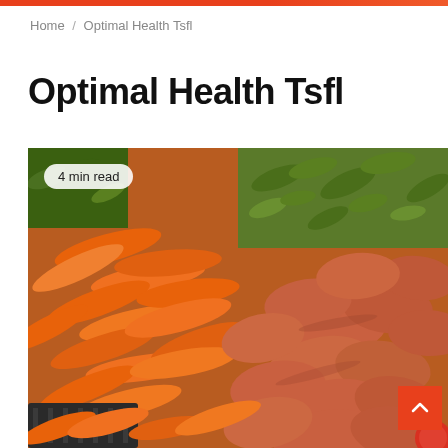Home / Optimal Health Tsfl
Optimal Health Tsfl
[Figure (photo): A colorful market display of fresh vegetables including orange carrots in the center-left, brown/pink sweet potatoes in the center-right, and green vegetables (okra, peppers) in the upper portion. A badge reads '4 min read'.]